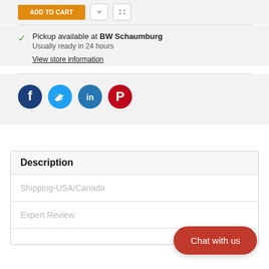[Figure (screenshot): Top bar with Add to Cart button (orange), a wishlist icon button, and a share icon button]
Pickup available at BW Schaumburg
Usually ready in 24 hours
View store information
[Figure (infographic): Social media share icons: Facebook (dark blue), Twitter (light blue), LinkedIn (blue), Pinterest (red)]
Description
Shipping-USA/Canada
Expert Review
[Figure (screenshot): Chat with us red pill-shaped button in the lower right]